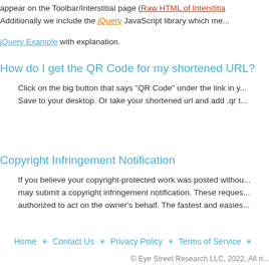appear on the Toolbar/Interstitial page (Raw HTML of Interstitia... Additionally we include the jQuery JavaScript library which me...
jQuery Example with explanation.
How do I get the QR Code for my shortened URL?
Click on the big button that says "QR Code" under the link in y... Save to your desktop. Or take your shortened url and add .qr t...
Copyright Infringement Notification
If you believe your copyright-protected work was posted withou... may submit a copyright infringement notification. These reques... authorized to act on the owner's behalf. The fastest and easies...
Home * Contact Us * Privacy Policy * Terms of Service *
© Eye Street Research LLC, 2022, All ri...